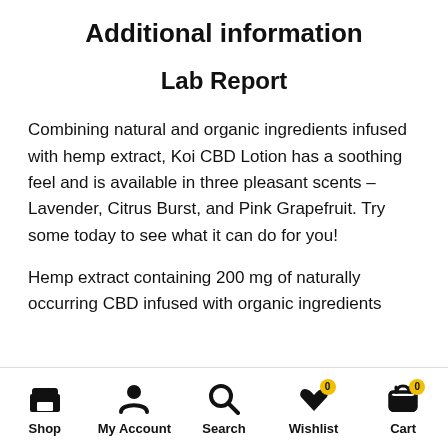Additional information
Lab Report
Combining natural and organic ingredients infused with hemp extract, Koi CBD Lotion has a soothing feel and is available in three pleasant scents – Lavender, Citrus Burst, and Pink Grapefruit. Try some today to see what it can do for you!
Hemp extract containing 200 mg of naturally occurring CBD infused with organic ingredients
Shop  My Account  Search  Wishlist  Cart